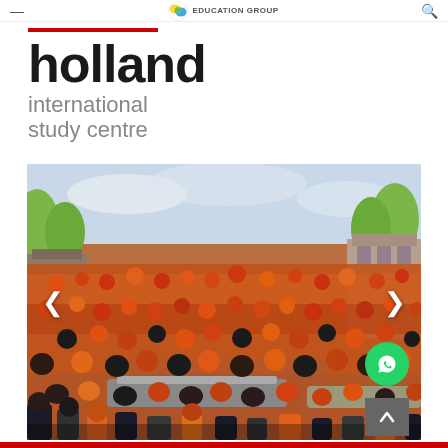≡   Education Group   🔍
holland international study centre
[Figure (photo): Large crowd of people dressed in orange celebrating King's Day on boats and along a canal in Amsterdam, the Netherlands. Trees line the canal with historic Dutch buildings in the background.]